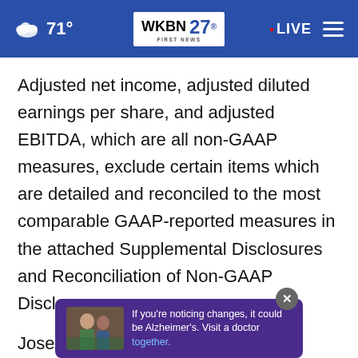71° WKBN FIRST NEWS 27. LIVE
Adjusted net income, adjusted diluted earnings per share, and adjusted EBITDA, which are all non-GAAP measures, exclude certain items which are detailed and reconciled to the most comparable GAAP-reported measures in the attached Supplemental Disclosures and Reconciliation of Non-GAAP Disclosures.
Jose Mas, MasTec's Chief Executive Officer commented, "As we have previously indicated, 2022 ... for
[Figure (other): Advertisement banner overlay: photo of two men, text 'If you're noticing changes, it could be Alzheimer's. Visit a doctor together.' with close button]